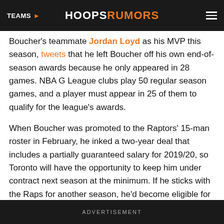TEAMS | HOOPSRUMORS
Boucher's teammate Jordan Loyd as his MVP this season, tweets that he left Boucher off his own end-of-season awards because he only appeared in 28 games. NBA G League clubs play 50 regular season games, and a player must appear in 25 of them to qualify for the league's awards.
When Boucher was promoted to the Raptors' 15-man roster in February, he inked a two-year deal that includes a partially guaranteed salary for 2019/20, so Toronto will have the opportunity to keep him under contract next season at the minimum. If he sticks with the Raps for another season, he'd become eligible for restricted free agency in the summer of 2020.
ADVERTISEMENT